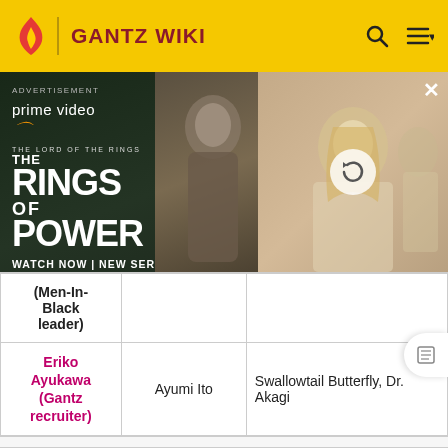GANTZ WIKI
[Figure (photo): Advertisement for Amazon Prime Video – The Lord of the Rings: The Rings of Power. Shows a robed character on left panel and a blonde woman on right panel with a refresh icon overlay. Text: ADVERTISEMENT, prime video, THE LORD OF THE RINGS THE RINGS OF POWER, WATCH NOW | NEW SERIES.]
| Job | Name | Known for |
| --- | --- | --- |
| (Men-In-Black leader) |  |  |
| Eriko Ayukawa (Gantz recruiter) | Ayumi Ito | Swallowtail Butterfly, Dr. Akagi |
| Job | Name | Known for |
| --- | --- | --- |
| Others involved |  |  |
| Job | Name | Known for |